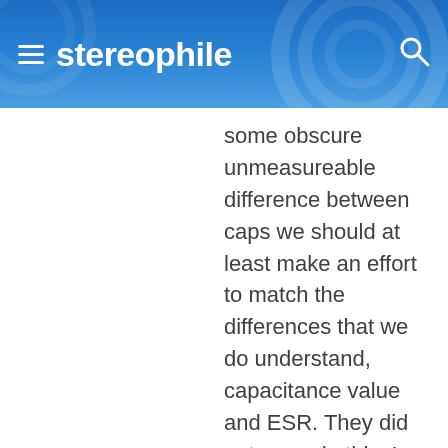stereophile
some obscure unmeasureable difference between caps we should at least make an effort to match the differences that we do understand, capacitance value and ESR. They did not even do this. I have found that I can hear very slight differences between